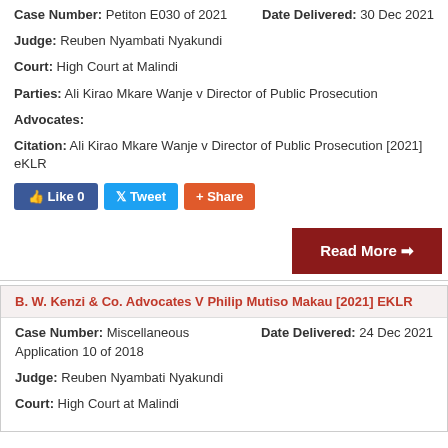Case Number: Petiton E030 of 2021 | Date Delivered: 30 Dec 2021
Judge: Reuben Nyambati Nyakundi
Court: High Court at Malindi
Parties: Ali Kirao Mkare Wanje v Director of Public Prosecution
Advocates:
Citation: Ali Kirao Mkare Wanje v Director of Public Prosecution [2021] eKLR
[Figure (screenshot): Social sharing buttons: Like 0, Tweet, Share]
Read More →
B. W. Kenzi & Co. Advocates V Philip Mutiso Makau [2021] EKLR
Case Number: Miscellaneous Application 10 of 2018 | Date Delivered: 24 Dec 2021
Judge: Reuben Nyambati Nyakundi
Court: High Court at Malindi